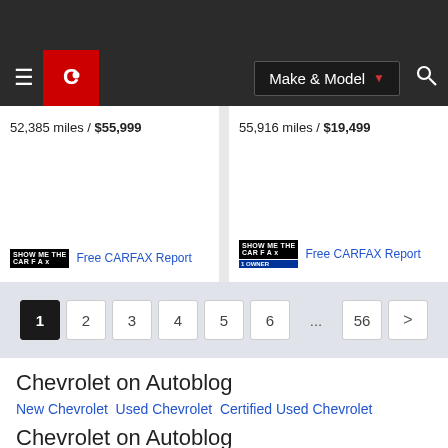Make & Model navigation bar with Carfax logo
52,385 miles / $55,999
Free CARFAX Report
55,916 miles / $19,499
Free CARFAX Report
1 2 3 4 5 6 ... 56 >
Chevrolet on Autoblog
New Chevrolet Used Chevrolet Certified Used Chevrolet
Chevrolet on Autoblog
Chevrolet Models, News and Information Chevrolet Car Dealers